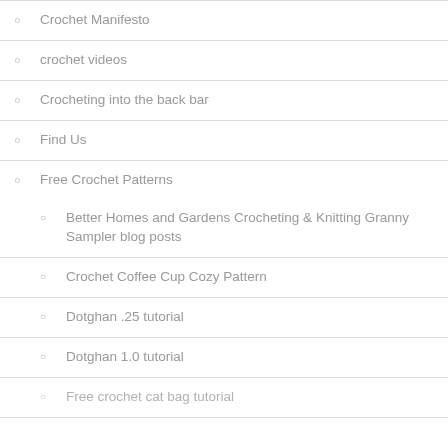Crochet Manifesto
crochet videos
Crocheting into the back bar
Find Us
Free Crochet Patterns
Better Homes and Gardens Crocheting & Knitting Granny Sampler blog posts
Crochet Coffee Cup Cozy Pattern
Dotghan .25 tutorial
Dotghan 1.0 tutorial
Free crochet cat bag tutorial